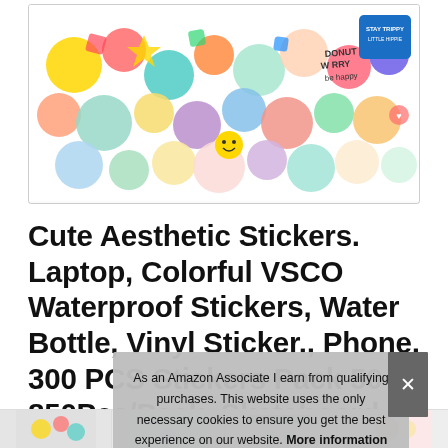[Figure (photo): Product image showing a colorful collage of cute aesthetic stickers including food, animals, cartoon characters, and decorative items]
Cute Aesthetic Stickers. Laptop, Colorful VSCO Waterproof Stickers, Water Bottle, Vinyl Sticker., Phone, 300 PCS Stickers Pack 50-850Pcs/Pack, Skateboard Stickers for Teens Girls Kids
#ad
As an Amazon Associate I earn from qualifying purchases. This website uses the only necessary cookies to ensure you get the best experience on our website. More information
[Figure (photo): Thumbnail strip showing small product images at the bottom of the page]